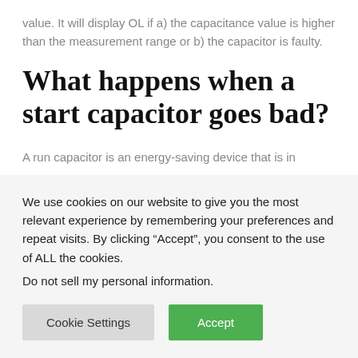value. It will display OL if a) the capacitance value is higher than the measurement range or b) the capacitor is faulty.
What happens when a start capacitor goes bad?
A run capacitor is an energy-saving device that is in
We use cookies on our website to give you the most relevant experience by remembering your preferences and repeat visits. By clicking “Accept”, you consent to the use of ALL the cookies.
Do not sell my personal information.
Cookie Settings
Accept